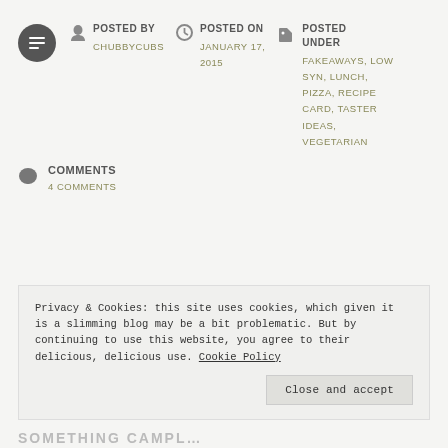POSTED BY CHUBBYCUBS | POSTED ON JANUARY 17, 2015 | POSTED UNDER FAKEAWAYS, LOW SYN, LUNCH, PIZZA, RECIPE CARD, TASTER IDEAS, VEGETARIAN
COMMENTS 4 COMMENTS
Privacy & Cookies: this site uses cookies, which given it is a slimming blog may be a bit problematic. But by continuing to use this website, you agree to their delicious, delicious use. Cookie Policy
Close and accept
SOMETHING CAMPL...